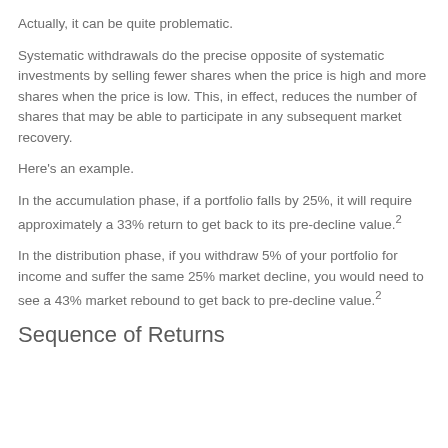Actually, it can be quite problematic.
Systematic withdrawals do the precise opposite of systematic investments by selling fewer shares when the price is high and more shares when the price is low. This, in effect, reduces the number of shares that may be able to participate in any subsequent market recovery.
Here's an example.
In the accumulation phase, if a portfolio falls by 25%, it will require approximately a 33% return to get back to its pre-decline value.²
In the distribution phase, if you withdraw 5% of your portfolio for income and suffer the same 25% market decline, you would need to see a 43% market rebound to get back to pre-decline value.²
Sequence of Returns